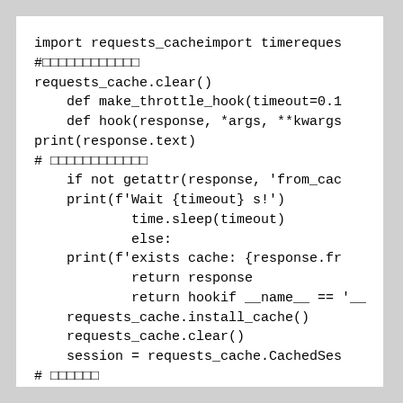import requests_cacheimport timereques
#□□□□□□□□□□□□
requests_cache.clear()
    def make_throttle_hook(timeout=0.1
    def hook(response, *args, **kwargs
print(response.text)
# □□□□□□□□□□□□
    if not getattr(response, 'from_cac
    print(f'Wait {timeout} s!')
            time.sleep(timeout)
            else:
    print(f'exists cache: {response.fr
            return response
            return hookif __name__ == '__
    requests_cache.install_cache()
    requests_cache.clear()
    session = requests_cache.CachedSes
# □□□□□□